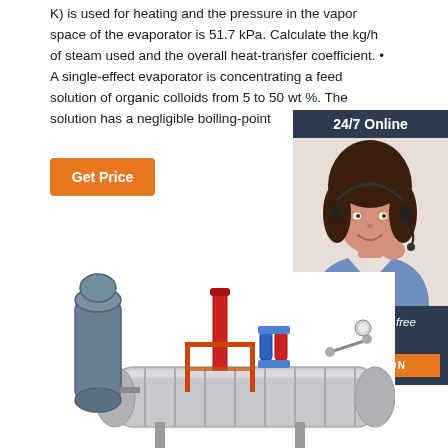K) is used for heating and the pressure in the vapor space of the evaporator is 51.7 kPa. Calculate the kg/h of steam used and the overall heat-transfer coefficient. • A single-effect evaporator is concentrating a feed solution of organic colloids from 5 to 50 wt %. The solution has a negligible boiling-point
[Figure (other): Orange 'Get Price' button]
[Figure (other): Sidebar with '24/7 Online' header, photo of a woman with headset, 'Click here for free chat!' text, and orange QUOTATION button]
[Figure (photo): Industrial evaporator/boiler machine equipment photo]